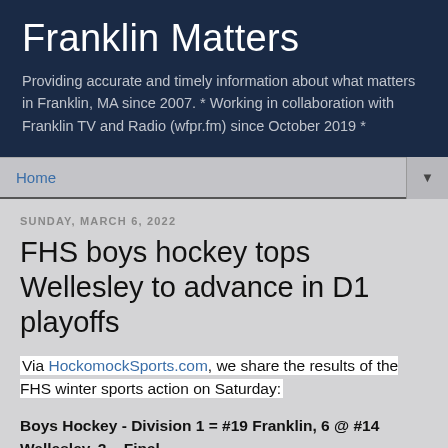Franklin Matters
Providing accurate and timely information about what matters in Franklin, MA since 2007. * Working in collaboration with Franklin TV and Radio (wfpr.fm) since October 2019 *
Home ▼
SUNDAY, MARCH 6, 2022
FHS boys hockey tops Wellesley to advance in D1 playoffs
Via HockomockSports.com, we share the results of the FHS winter sports action on Saturday:
Boys Hockey - Division 1 = #19 Franklin, 6 @ #14 Wellesley, 2 – Final